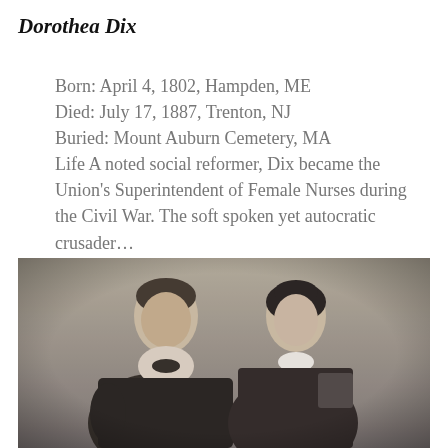Dorothea Dix
Born: April 4, 1802, Hampden, ME
Died: July 17, 1887, Trenton, NJ
Buried: Mount Auburn Cemetery, MA
Life A noted social reformer, Dix became the Union's Superintendent of Female Nurses during the Civil War. The soft spoken yet autocratic crusader...
[Figure (photo): Black and white historical photograph of a man and a woman. The man is on the left wearing a dark jacket with a bow tie; the woman is on the right wearing a dark dress with a white collar.]